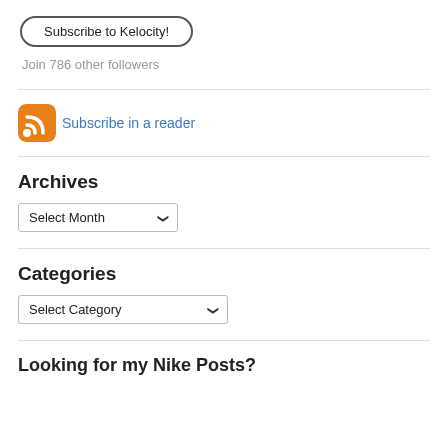Subscribe to Kelocity!
Join 786 other followers
Subscribe in a reader
Archives
Select Month
Categories
Select Category
Looking for my Nike Posts?